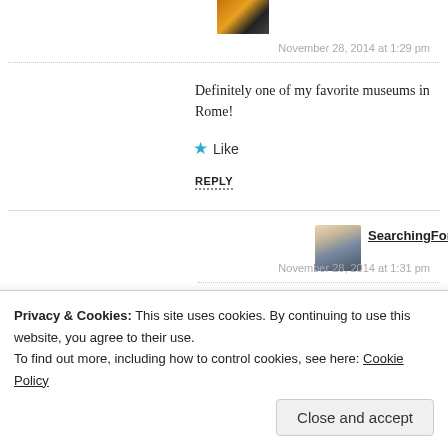[Figure (photo): Small thumbnail avatar image, warm tones]
November 28, 2014 at 1:29 pm
Definitely one of my favorite museums in Rome!
Like
REPLY
[Figure (photo): Profile photo of SearchingForBernini]
SearchingForBernini said:
November 28, 2014 at 1:31 pm
Gorgeous Irene! I'd never been to it before.
Like
REPLY
Privacy & Cookies: This site uses cookies. By continuing to use this website, you agree to their use.
To find out more, including how to control cookies, see here: Cookie Policy
Close and accept